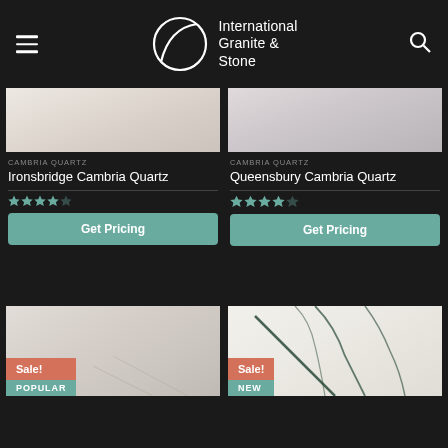International Granite & Stone
CAMBRIA QUARTZ
Ironsbridge Cambria Quartz
★★★★☆
Get Pricing
CAMBRIA QUARTZ
Queensbury Cambria Quartz
★★★★☆
Get Pricing
[Figure (photo): Stone slab product image with Sale! and POPULAR badges]
[Figure (photo): Stone slab product image with dark veining, Sale! and NEW badges]